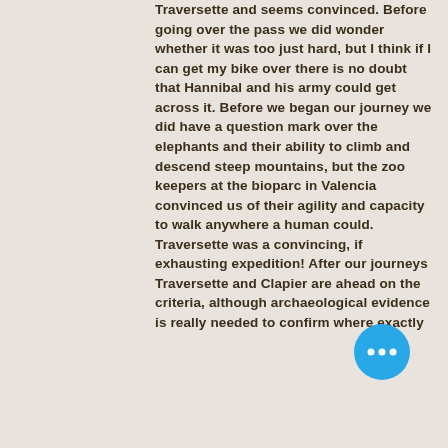Traversette and seems convinced. Before going over the pass we did wonder whether it was too just hard, but I think if I can get my bike over there is no doubt that Hannibal and his army could get across it. Before we began our journey we did have a question mark over the elephants and their ability to climb and descend steep mountains, but the zoo keepers at the bioparc in Valencia convinced us of their agility and capacity to walk anywhere a human could. Traversette was a convincing, if exhausting expedition! After our journeys Traversette and Clapier are ahead on the criteria, although archaeological evidence is really needed to confirm where exactly
[Figure (other): Blue circular button with three horizontal dots (ellipsis/more options button)]